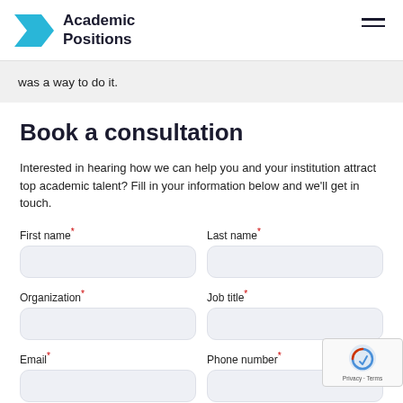Academic Positions
was a way to do it.
Book a consultation
Interested in hearing how we can help you and your institution attract top academic talent? Fill in your information below and we'll get in touch.
First name* | Last name* | Organization* | Job title* | Email* | Phone number*